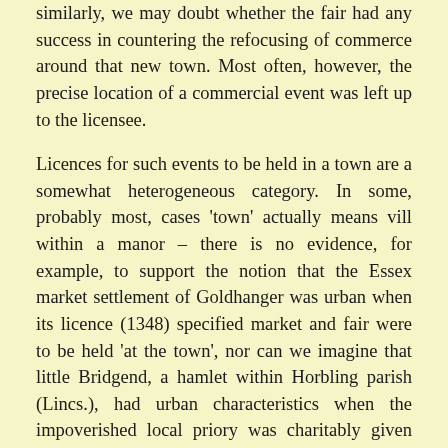similarly, we may doubt whether the fair had any success in countering the refocusing of commerce around that new town. Most often, however, the precise location of a commercial event was left up to the licensee.
Licences for such events to be held in a town are a somewhat heterogeneous category. In some, probably most, cases 'town' actually means vill within a manor – there is no evidence, for example, to support the notion that the Essex market settlement of Goldhanger was urban when its licence (1348) specified market and fair were to be held 'at the town', nor can we imagine that little Bridgend, a hamlet within Horbling parish (Lincs.), had urban characteristics when the impoverished local priory was charitably given licences in 1355 and again in 1356. In other places an urban settlement is clearly intended, as in the case of a Bristol fair, or the fair licensed in 1201 for the newly-founded borough of Chelmsford, whereas its market grant, pre-foundation, had been for that part of the vill which pertained to the licensee's